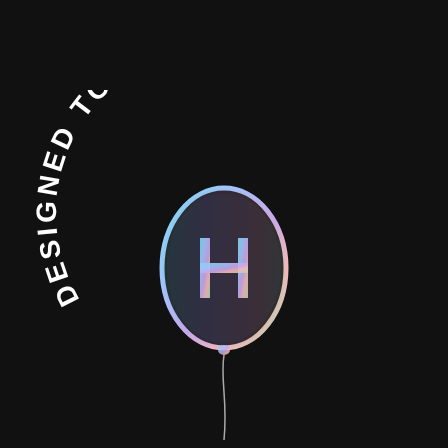[Figure (logo): Highstyle Event Rental logo and 'Designed to Celebrate' circular badge with holographic balloon icon on black background]
HIGHSTYLE EVENT RENTAL